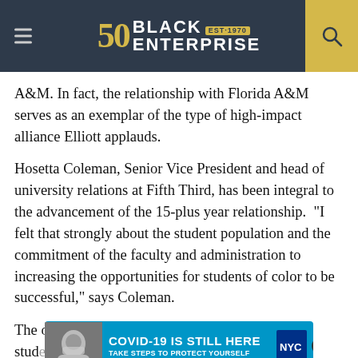Black Enterprise — EST. 1970 — 50th Anniversary
A&M. In fact, the relationship with Florida A&M serves as an exemplar of the type of high-impact alliance Elliott applauds.
Hosetta Coleman, Senior Vice President and head of university relations at Fifth Third, has been integral to the advancement of the 15-plus year relationship. “I felt that strongly about the student population and the commitment of the faculty and administration to increasing the opportunities for students of color to be successful,” says Coleman.
The objective, she maintains, is to “prepare every stud[ent]... h and ... not
[Figure (infographic): COVID-19 IS STILL HERE — TAKE STEPS TO PROTECT YOURSELF — NYC advertisement banner overlay with masked person photo]